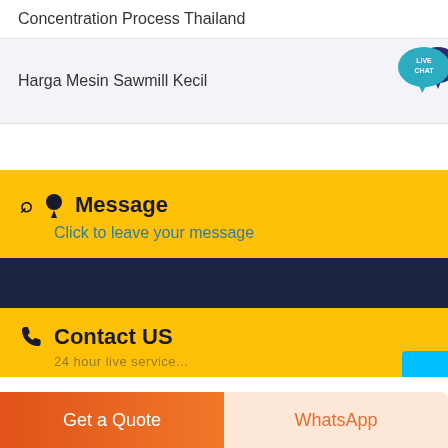Concentration Process Thailand
Harga Mesin Sawmill Kecil
[Figure (illustration): Live Chat speech bubble badge icon in teal/dark blue colors with text LIVE CHAT]
Message
Click to leave your message
Contact US
24 hour live service (partial, cut off)
Get a Quote
WhatsApp